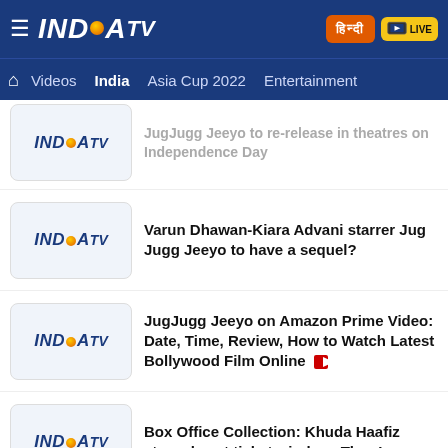India TV - Navigation header with logo, Hindi button, Live button, and nav menu: Videos, India, Asia Cup 2022, Entertainment
JugJugg Jeeyo to re-release in theatres on Independence Day
Varun Dhawan-Kiara Advani starrer Jug Jugg Jeeyo to have a sequel?
JugJugg Jeeyo on Amazon Prime Video: Date, Time, Review, How to Watch Latest Bollywood Film Online
Box Office Collection: Khuda Haafiz struggles at ticket window; Thor Love